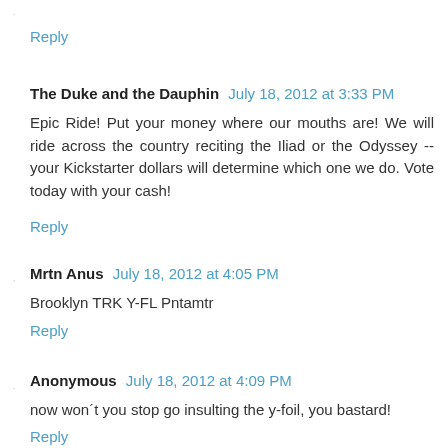Reply
The Duke and the Dauphin  July 18, 2012 at 3:33 PM
Epic Ride! Put your money where our mouths are! We will ride across the country reciting the Iliad or the Odyssey -- your Kickstarter dollars will determine which one we do. Vote today with your cash!
Reply
Mrtn Anus  July 18, 2012 at 4:05 PM
Brooklyn TRK Y-FL Pntamtr
Reply
Anonymous  July 18, 2012 at 4:09 PM
now won´t you stop go insulting the y-foil, you bastard!
Reply